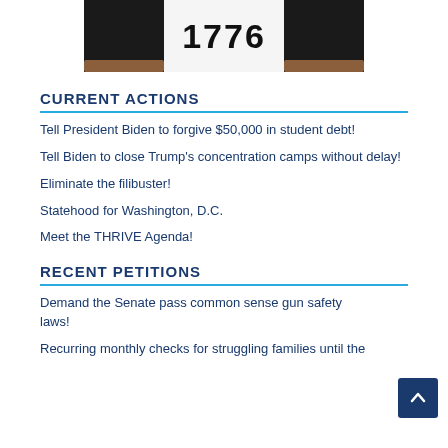[Figure (photo): Person wearing a white shirt with '1776' text and black sleeves, cropped to show torso and arms only]
CURRENT ACTIONS
Tell President Biden to forgive $50,000 in student debt!
Tell Biden to close Trump's concentration camps without delay!
Eliminate the filibuster!
Statehood for Washington, D.C.
Meet the THRIVE Agenda!
RECENT PETITIONS
Demand the Senate pass common sense gun safety laws!
Recurring monthly checks for struggling families until the